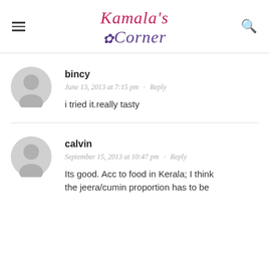Kamala's Corner
bincy
June 13, 2013 at 7:15 pm · Reply
i tried it.really tasty
calvin
September 15, 2013 at 10:47 pm · Reply
Its good. Acc to food in Kerala; I think the jeera/cumin proportion has to be